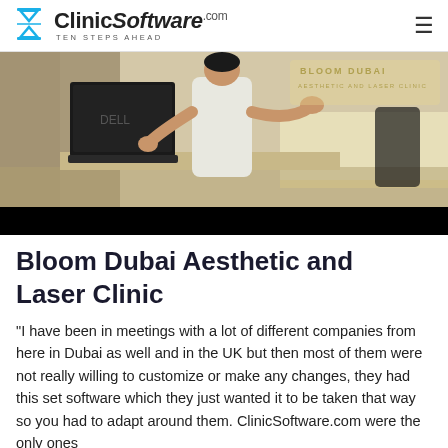ClinicSoftware.com — TEN STEPS AHEAD
[Figure (photo): Woman in white top standing in front of 'Bloom Dubai Aesthetic and Laser Clinic' signage, with a Dell laptop and reception desk visible]
Bloom Dubai Aesthetic and Laser Clinic
"I have been in meetings with a lot of different companies from here in Dubai as well and in the UK but then most of them were not really willing to customize or make any changes, they had this set software which they just wanted it to be taken that way so you had to adapt around them. ClinicSoftware.com were the only ones